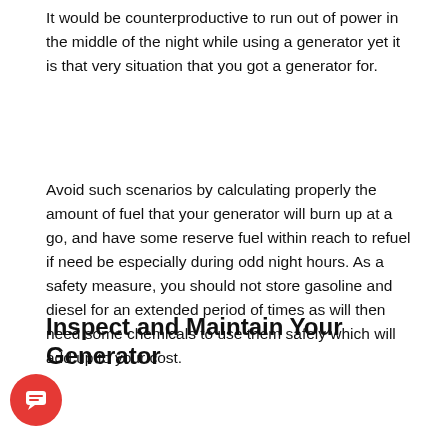It would be counterproductive to run out of power in the middle of the night while using a generator yet it is that very situation that you got a generator for.
Avoid such scenarios by calculating properly the amount of fuel that your generator will burn up at a go, and have some reserve fuel within reach to refuel if need be especially during odd night hours. As a safety measure, you should not store gasoline and diesel for an extended period of times as will then need some chemicals to use them safely which will add up to your cost.
Inspect and Maintain Your Generator
[Figure (photo): Photo of a person wearing a red shirt working on or inspecting something, with a wooden panel background visible. A number '5' label appears above the image in red. A red circular chat button with a speech bubble icon is overlaid in the lower-left corner.]